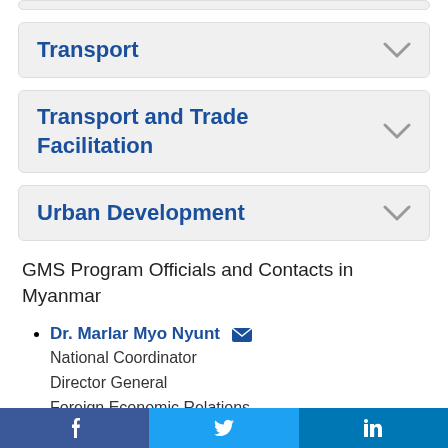Transport
Transport and Trade Facilitation
Urban Development
GMS Program Officials and Contacts in Myanmar
Dr. Marlar Myo Nyunt
National Coordinator
Director General
Foreign Economic Relations
f  Twitter  in